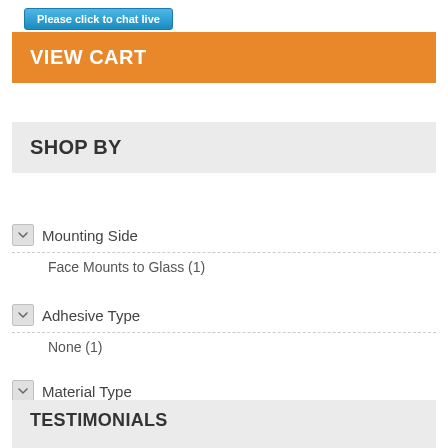[Figure (screenshot): Blue chat button with text 'Please click to chat live']
VIEW CART
SHOP BY
Mounting Side
Face Mounts to Glass (1)
Adhesive Type
None (1)
Material Type
Film (1)
Self Adhesive (15)
Non-Adhesive Cling (5)
TESTIMONIALS